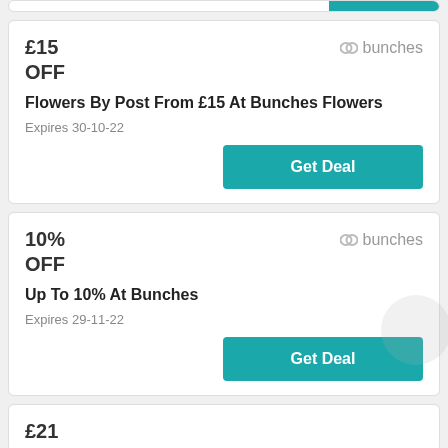[Figure (other): Partial top card with teal button visible at top]
£15
OFF
[Figure (logo): Bunches logo]
Flowers By Post From £15 At Bunches Flowers
Expires 30-10-22
Get Deal
10%
OFF
[Figure (logo): Bunches logo]
Up To 10% At Bunches
Expires 29-11-22
Get Deal
£21
OFF